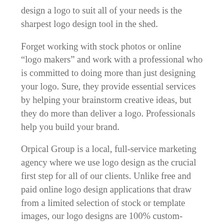design a logo to suit all of your needs is the sharpest logo design tool in the shed.
Forget working with stock photos or online “logo makers” and work with a professional who is committed to doing more than just designing your logo. Sure, they provide essential services by helping your brainstorm creative ideas, but they do more than deliver a logo. Professionals help you build your brand.
Orpical Group is a local, full-service marketing agency where we use logo design as the crucial first step for all of our clients. Unlike free and paid online logo design applications that draw from a limited selection of stock or template images, our logo designs are 100% custom-made, just like the businesses they represent.
Best of all, we walk you through the process from start